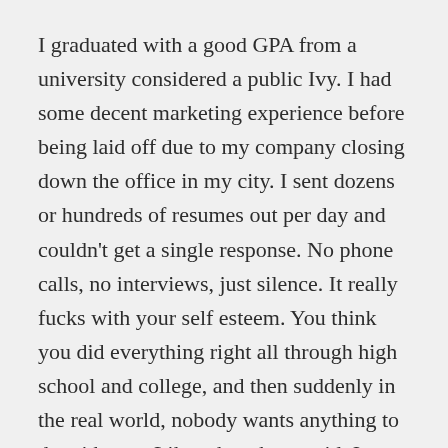I graduated with a good GPA from a university considered a public Ivy. I had some decent marketing experience before being laid off due to my company closing down the office in my city. I sent dozens or hundreds of resumes out per day and couldn't get a single response. No phone calls, no interviews, just silence. It really fucks with your self esteem. You think you did everything right all through high school and college, and then suddenly in the real world, nobody wants anything to do with you. Like others have said, I wasn't demanding a job that could let me live like royalty, just one that paid my rent, bills, food, and let me enjoy an occasional night out.